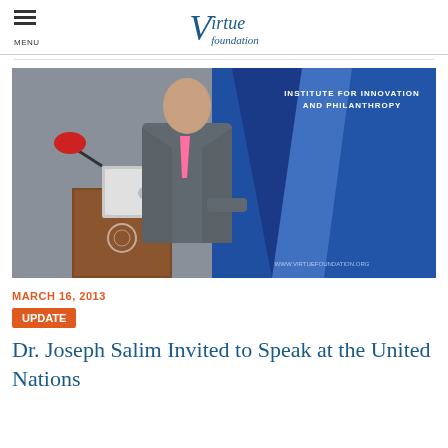Virtue Foundation
[Figure (photo): A man in a grey suit with a pink tie stands at a wooden podium with a UN emblem and an Apple laptop, speaking before a blue banner reading 'Institute for Innovation and Philanthropy' with a large V shape and the Virtue Foundation website URL.]
MARCH 16, 2013
UPDATE  Dr. Joseph Salim Invited to Speak at the United Nations